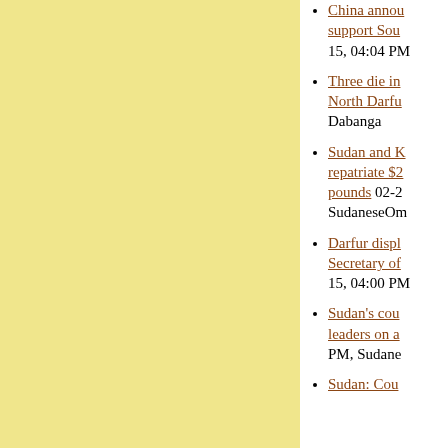[Figure (other): Yellow/cream colored panel on the left side of the page]
China annou... support Sou... 15, 04:04 PM
Three die in... North Darfu... Dabanga
Sudan and K... repatriate $2... pounds 02-2... SudaneseOm...
Darfur displ... Secretary of... 15, 04:00 PM
Sudan's cou... leaders on a... PM, Sudane...
Sudan: Cou...